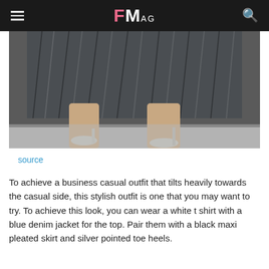FMag
[Figure (photo): Close-up street style photo showing a woman wearing a black pleated maxi skirt with silver pointed toe heels, walking on a sidewalk.]
source
To achieve a business casual outfit that tilts heavily towards the casual side, this stylish outfit is one that you may want to try. To achieve this look, you can wear a white t shirt with a blue denim jacket for the top. Pair them with a black maxi pleated skirt and silver pointed toe heels.